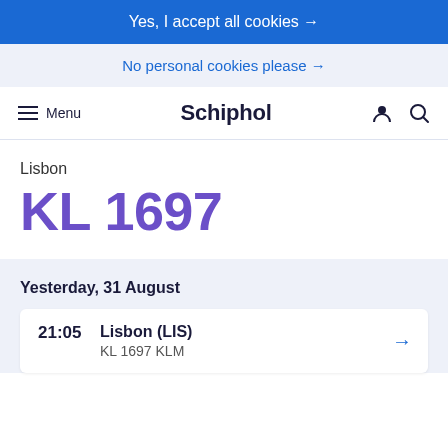Yes, I accept all cookies →
No personal cookies please →
Menu  Schiphol
Lisbon
KL 1697
Yesterday, 31 August
21:05  Lisbon (LIS)  KL 1697 KLM →